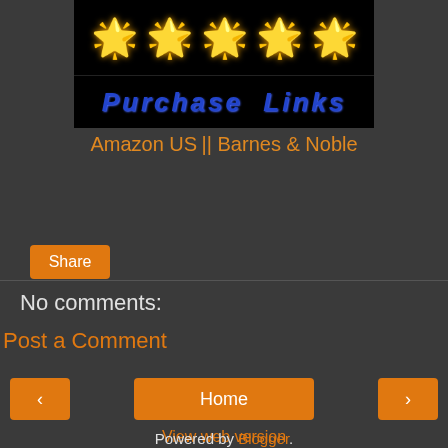[Figure (illustration): Five golden sun icons on black background]
[Figure (illustration): Purchase Links text with blue metallic styling on black background]
Amazon US || Barnes & Noble
Share
No comments:
Post a Comment
< Home >
View web version
Powered by Blogger.